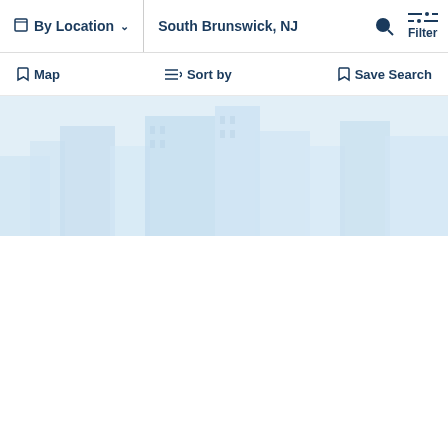By Location  ∨   South Brunswick, NJ   🔍   Filter
🔖 Map    ≡↓ Sort by    🔖 Save Search
[Figure (photo): Light blue toned city skyline / office building façade photo used as hero image background]
We use cookies to make interactions with our websites and services easy and meaningful and to better understand how they are used. You can find out more about which cookies we are using and update your preferences in Cookies Settings. By clicking "Accept All Cookies," you are agreeing to our use of cookies. Cookie Notice.
Cookies Settings   Accept All Cookies